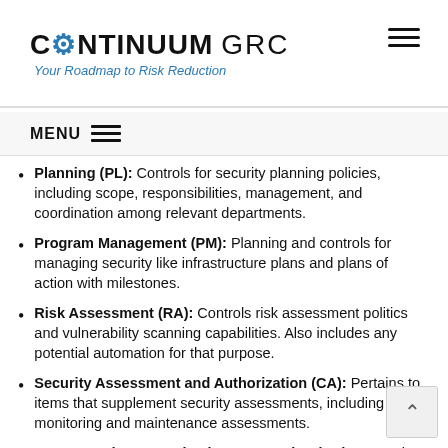CONTINUUM GRC — Your Roadmap to Risk Reduction
MENU
Planning (PL): Controls for security planning policies, including scope, responsibilities, management, and coordination among relevant departments.
Program Management (PM): Planning and controls for managing security like infrastructure plans and plans of action with milestones.
Risk Assessment (RA): Controls risk assessment politics and vulnerability scanning capabilities. Also includes any potential automation for that purpose.
Security Assessment and Authorization (CA): Pertains to items that supplement security assessments, including monitoring and maintenance assessments.
System and Communications Protection (SC): Protection for